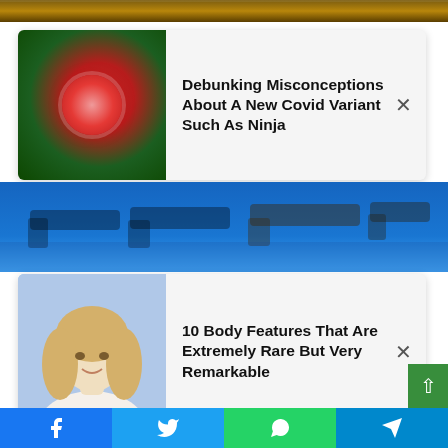[Figure (photo): Top background image strip showing decorative/editorial image]
[Figure (infographic): Advertisement card 1: thumbnail of pink covid virus ball on dark green background, with headline 'Debunking Misconceptions About A New Covid Variant Such As Ninja' and close button]
[Figure (photo): Editorial photo strip showing multiple handguns laid out on a blue table surface]
[Figure (infographic): Advertisement card 2: thumbnail of blonde woman, with headline '10 Body Features That Are Extremely Rare But Very Remarkable' and close button]
John Lamparski/Sipa USA
“Under current federal law, which is about to change, it is not considered a firearm by these companies because they sell parts and not a finished firearm. Nobody gets a background check. Nobody has a license. Nobody has a permit.”
The number of ghost weapons has increased to hundreds